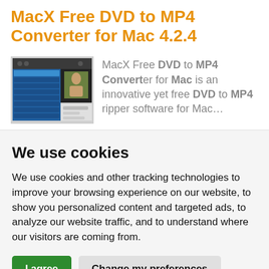MacX Free DVD to MP4 Converter for Mac 4.2.4
[Figure (screenshot): Screenshot of MacX Free DVD to MP4 Converter application interface showing a dark blue panel with file list and video preview]
MacX Free DVD to MP4 Converter for Mac is an innovative yet free DVD to MP4 ripper software for Mac...
We use cookies
We use cookies and other tracking technologies to improve your browsing experience on our website, to show you personalized content and targeted ads, to analyze our website traffic, and to understand where our visitors are coming from.
I agree | Change my preferences